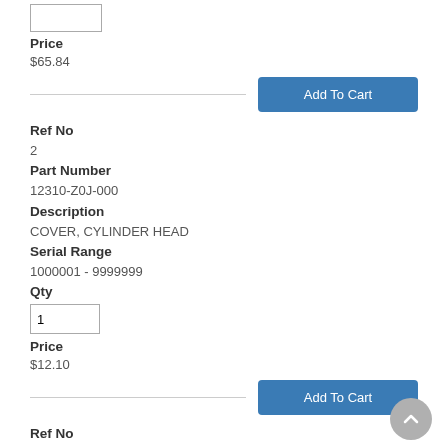Price
$65.84
Add To Cart
Ref No
2
Part Number
12310-Z0J-000
Description
COVER, CYLINDER HEAD
Serial Range
1000001 - 9999999
Qty
Price
$12.10
Add To Cart
Ref No